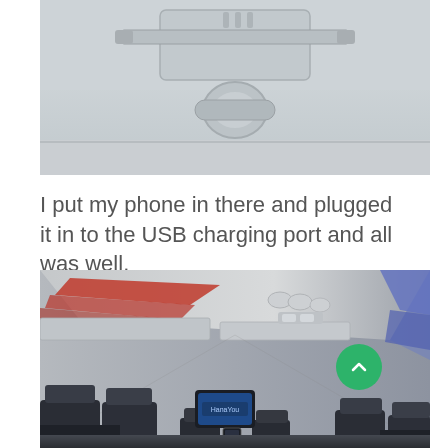[Figure (photo): Close-up photo of airplane overhead compartment latch/handle mechanism, gray plastic, with a sliding lock bar and round handle.]
I put my phone in there and plugged it in to the USB charging port and all was well.
[Figure (photo): Interior of an airplane cabin looking down the aisle, showing overhead bins with red accent lighting on the left, blue/purple lighting on the right, rows of seats with headrest screens (one showing 'HanaYou'), and the ceiling panels with reading lights and vents.]